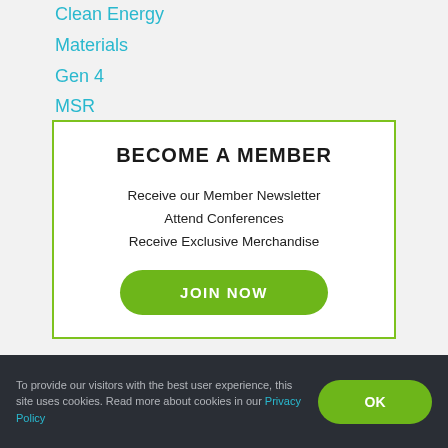Clean Energy
Materials
Gen 4
MSR
DoE
BECOME A MEMBER
Receive our Member Newsletter
Attend Conferences
Receive Exclusive Merchandise
JOIN NOW
To provide our visitors with the best user experience, this site uses cookies. Read more about cookies in our Privacy Policy
OK